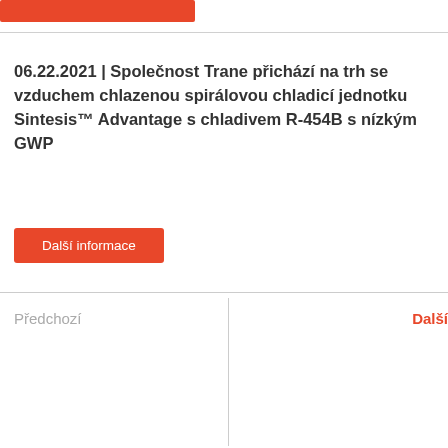[Figure (other): Red/orange rectangular button bar at top]
06.22.2021 | Společnost Trane přichází na trh se vzduchem chlazenou spirálovou chladicí jednotku Sintesis™ Advantage s chladivem R-454B s nízkým GWP
Další informace
Předchozí
Další